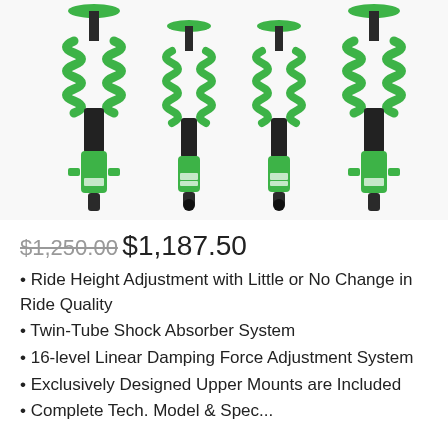[Figure (photo): Four green coilover shock absorbers with coil springs, arranged side by side against a white background. The coilovers are green and black with mounting brackets visible.]
$1,250.00 $1,187.50
Ride Height Adjustment with Little or No Change in Ride Quality
Twin-Tube Shock Absorber System
16-level Linear Damping Force Adjustment System
Exclusively Designed Upper Mounts are Included
Complete Tech. Model & Spec...